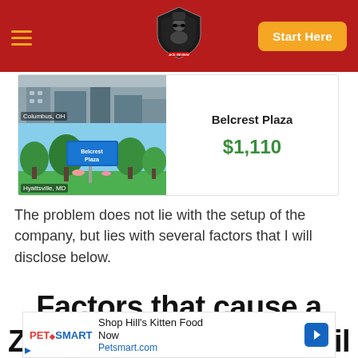Navigation bar with hamburger menu, logo, and Start Here button
[Figure (photo): Two stacked property listing images: top shows Columbus, OH building; bottom shows Belcrest Plaza sign in Hyattsville, MD]
Belcrest Plaza
$1,110
The problem does not lie with the setup of the company, but lies with several factors that I will disclose below.
Factors that cause a Zurvita consultant to fail
[Figure (other): PetSmart advertisement: Shop Hill's Kitten Food Now - Petsmart.com]